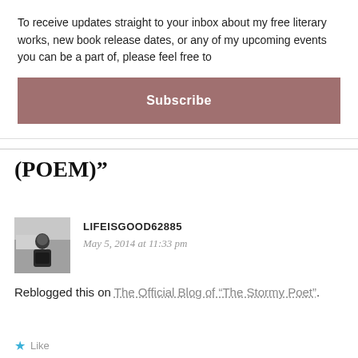To receive updates straight to your inbox about my free literary works, new book release dates, or any of my upcoming events you can be a part of, please feel free to
Subscribe
(POEM)”
[Figure (photo): Black and white photo of a man standing near a truck]
LIFEISGOOD62885
May 5, 2014 at 11:33 pm
Reblogged this on The Official Blog of "The Stormy Poet".